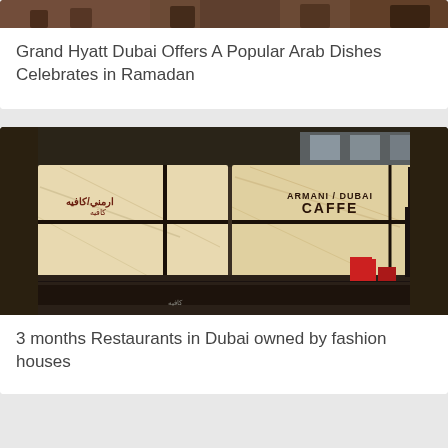[Figure (photo): Partial top of restaurant image showing dining chairs and tables, cropped]
Grand Hyatt Dubai Offers A Popular Arab Dishes Celebrates in Ramadan
[Figure (photo): Armani/Dubai Caffe interior showing illuminated sign panels with Arabic text and ARMANI/DUBAI CAFFE branding, black counter in foreground]
3 months Restaurants in Dubai owned by fashion houses